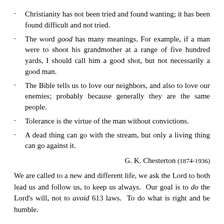Christianity has not been tried and found wanting; it has been found difficult and not tried.
The word good has many meanings. For example, if a man were to shoot his grandmother at a range of five hundred yards, I should call him a good shot, but not necessarily a good man.
The Bible tells us to love our neighbors, and also to love our enemies; probably because generally they are the same people.
Tolerance is the virtue of the man without convictions.
A dead thing can go with the stream, but only a living thing can go against it.
G. K. Chesterton (1874-1936)
We are called to a new and different life, we ask the Lord to both lead us and follow us, to keep us always.  Our goal is to do the Lord’s will, not to avoid 613 laws.  To do what is right and be humble.
Heaven is at the end of an uphill trail.  The easy downhill trail